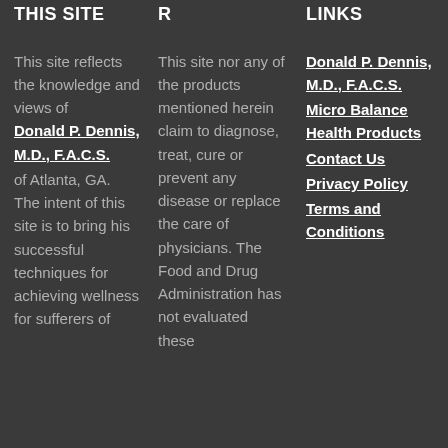THIS SITE
This site reflects the knowledge and views of Donald P. Dennis, M.D., F.A.C.S. of Atlanta, GA. The intent of this site is to bring his successful techniques for achieving wellness for sufferers of
R
This site nor any of the products mentioned herein claim to diagnose, treat, cure or prevent any disease or replace the care of physicians. The Food and Drug Administration has not evaluated these
LINKS
Donald P. Dennis, M.D., F.A.C.S.
Micro Balance Health Products
Contact Us
Privacy Policy
Terms and Conditions